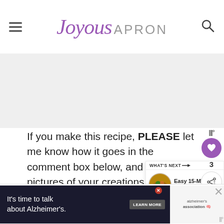Joyous APRON
[Figure (other): Gray advertisement banner placeholder area]
If you make this recipe, PLEASE let me know how it goes in the comment box below, and share pictures of your creations on instagram by tagging #joyousa… WANNA SEE!! And while you are there, d…
[Figure (screenshot): WHAT'S NEXT panel showing Easy 15-Minute Ques... with a bowl of food image]
[Figure (other): Bottom advertisement banner: It's time to talk about Alzheimer's. LEARN MORE - alzheimer's association logo]
[Figure (other): Sidebar icons: bar chart icon, purple heart button showing count 3, share button]